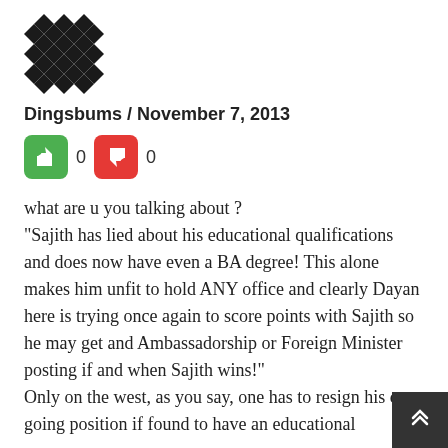[Figure (illustration): Avatar image — black and white geometric/diamond pattern avatar]
Dingsbums / November 7, 2013
[Figure (infographic): Thumbs up (green) vote button showing count 0, and thumbs down (red) vote button showing count 0]
what are u you talking about ? "Sajith has lied about his educational qualifications and does now have even a BA degree! This alone makes him unfit to hold ANY office and clearly Dayan here is trying once again to score points with Sajith so he may get and Ambassadorship or Foreign Minister posting if and when Sajith wins!" Only on the west, as you say, one has to resign his on going position if found to have an educational...